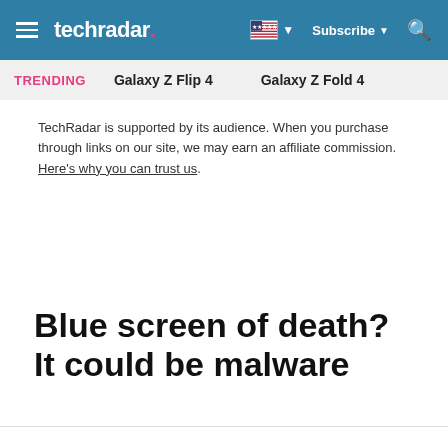techradar
TRENDING   Galaxy Z Flip 4   Galaxy Z Fold 4
TechRadar is supported by its audience. When you purchase through links on our site, we may earn an affiliate commission. Here’s why you can trust us.
Blue screen of death? It could be malware